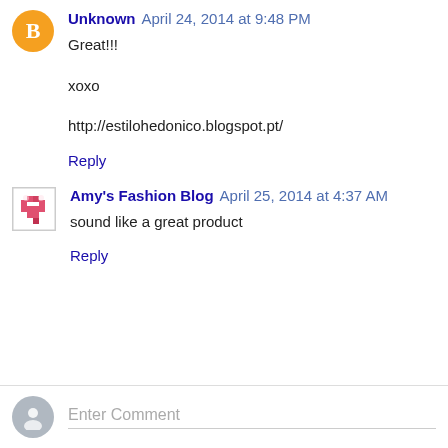Unknown April 24, 2014 at 9:48 PM
Great!!!
xoxo
http://estilohedonico.blogspot.pt/
Reply
Amy's Fashion Blog April 25, 2014 at 4:37 AM
sound like a great product
Reply
Enter Comment